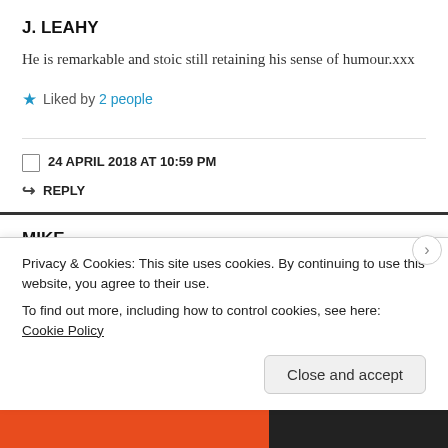J. LEAHY
He is remarkable and stoic still retaining his sense of humour.xxx
Liked by 2 people
24 APRIL 2018 AT 10:59 PM
REPLY
MIKE
Well done, mate. Keep it going. Love the
Privacy & Cookies: This site uses cookies. By continuing to use this website, you agree to their use.
To find out more, including how to control cookies, see here: Cookie Policy
Close and accept